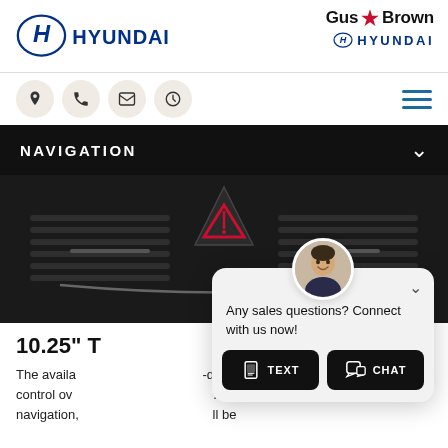[Figure (logo): Hyundai brand logo — blue H emblem with HYUNDAI wordmark]
[Figure (logo): Gus Brown Hyundai dealership logo with maple leaf and Hyundai emblem]
[Figure (infographic): Icon bar with location pin, phone, envelope, clock icons and hamburger menu]
NAVIGATION
[Figure (photo): Close-up photo of Hyundai car interior dashboard/center console area showing hazard button]
10.25" T
The availa                                       -depth control ov                                            . From navigation,                                           ll be
[Figure (other): Chat widget overlay with sales agent avatar, message 'Any sales questions? Connect with us now!' and TEXT and CHAT buttons]